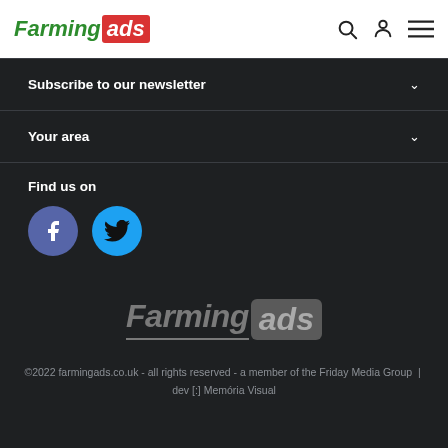Farming ads
Subscribe to our newsletter
Your area
Find us on
[Figure (logo): Facebook and Twitter social media icon circles]
[Figure (logo): Farming ads logo in gray tones]
©2022 farmingads.co.uk - all rights reserved - a member of the Friday Media Group  |  dev [:] Memória Visual